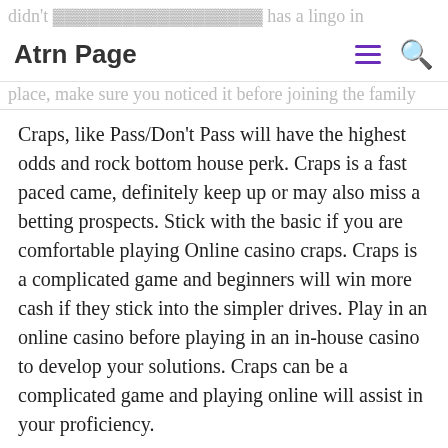Atrn Page
Craps, like Pass/Don't Pass will have the highest odds and rock bottom house perk. Craps is a fast paced came, definitely keep up or may also miss a betting prospects. Stick with the basic if you are comfortable playing Online casino craps. Craps is a complicated game and beginners will win more cash if they stick into the simpler drives. Play in an online casino before playing in an in-house casino to develop your solutions. Craps can be a complicated game and playing online will assist in your proficiency.
When choosing an internet casino, search online for one having a generous sign-in bonus help make sure you read and understand the terms and conditions for cashing out your